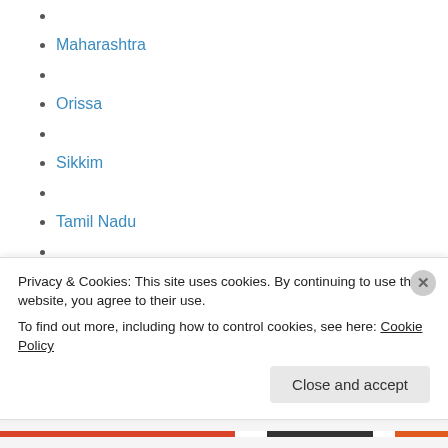Maharashtra
Orissa
Sikkim
Tamil Nadu
Uttarakhand
Foreign Travel Pages:
Privacy & Cookies: This site uses cookies. By continuing to use this website, you agree to their use.
To find out more, including how to control cookies, see here: Cookie Policy